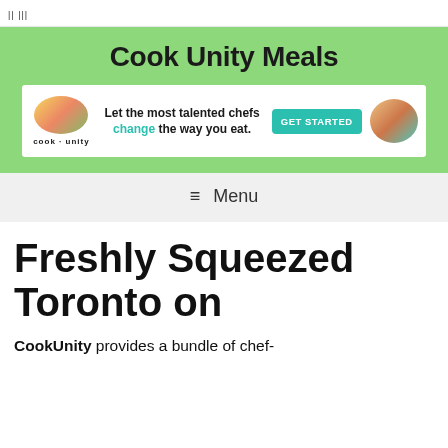|| |||
Cook Unity Meals
[Figure (screenshot): CookUnity advertisement banner with food images on both sides. Left side shows 'cook unity' logo and food imagery. Center text reads: 'Let the most talented chefs change the way you eat.' Right side shows a teal 'GET STARTED' button and food imagery on the far right.]
≡ Menu
Freshly Squeezed Toronto on
CookUnity provides a bundle of chef-